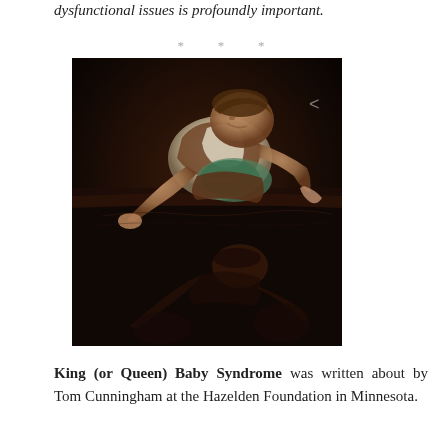dysfunctional issues is profoundly important.
* * *
[Figure (illustration): Classical painting (Caravaggio's Narcissus) showing a young man leaning over a reflective pool of water, gazing at his own reflection. The figure is dressed in white and brown garments, kneeling on a dark surface with his reflection mirrored below.]
King (or Queen) Baby Syndrome was written about by Tom Cunningham at the Hazelden Foundation in Minnesota.